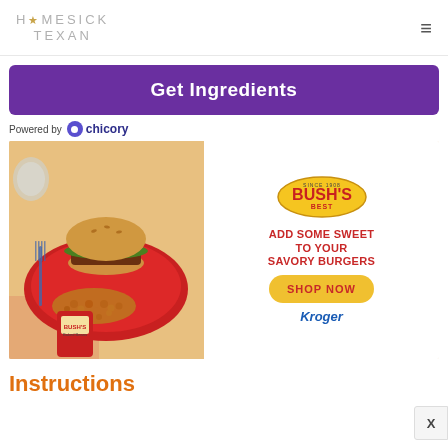HOMESICK TEXAN
Get Ingredients
Powered by chicory
[Figure (photo): Bush's Best baked beans advertisement showing a burger on a red plate with baked beans, a can of Bush's beans, and text: ADD SOME SWEET TO YOUR SAVORY BURGERS, SHOP NOW, Kroger]
Instructions